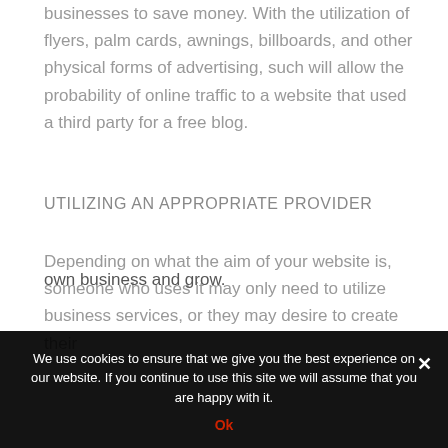businesses to save money. With the utilization of flyers, palm cards, awnings, billboards, and other physical forms of advertising, such will allow the probability of online traffic to a website that used a third party for a free blog.
UTILIZING AN APPROPRIATE PROVIDER
Depending on what the aim of your website is, someone who uses it may only need to utilize business services, or they may desire to create their own business and grow.
We use cookies to ensure that we give you the best experience on our website. If you continue to use this site we will assume that you are happy with it.
Ok